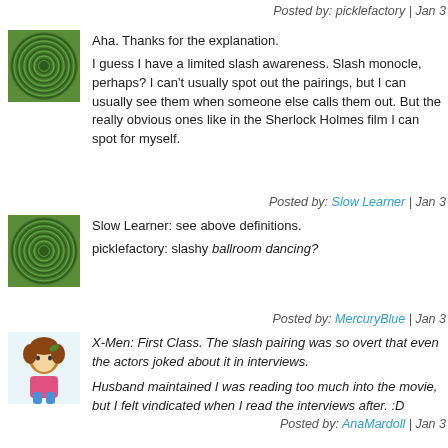Posted by: picklefactory | Jan 3
[Figure (illustration): Green swirling spiral avatar]
Aha. Thanks for the explanation.

I guess I have a limited slash awareness. Slash monocle, perhaps? I can't usually spot out the pairings, but I can usually see them when someone else calls them out. But the really obvious ones like in the Sherlock Holmes film I can spot for myself.
Posted by: Slow Learner | Jan 3
[Figure (illustration): Green swirling spiral avatar]
Slow Learner: see above definitions.

picklefactory: slashy ballroom dancing?
Posted by: MercuryBlue | Jan 3
[Figure (illustration): Cartoon girl avatar]
X-Men: First Class. The slash pairing was so overt that even the actors joked about it in interviews.

Husband maintained I was reading too much into the movie, but I felt vindicated when I read the interviews after. :D
Posted by: AnaMardoll | Jan 3
[Figure (illustration): Green swirling spiral avatar]
dear html:

screw you.